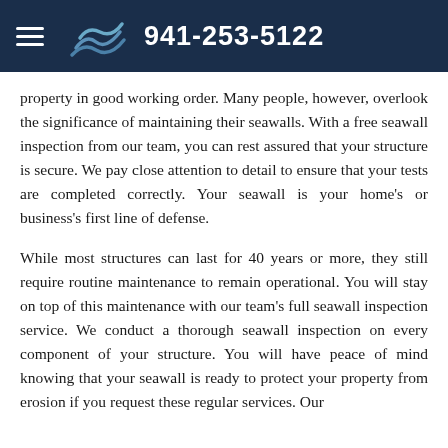941-253-5122
property in good working order. Many people, however, overlook the significance of maintaining their seawalls. With a free seawall inspection from our team, you can rest assured that your structure is secure. We pay close attention to detail to ensure that your tests are completed correctly. Your seawall is your home's or business's first line of defense.
While most structures can last for 40 years or more, they still require routine maintenance to remain operational. You will stay on top of this maintenance with our team's full seawall inspection service. We conduct a thorough seawall inspection on every component of your structure. You will have peace of mind knowing that your seawall is ready to protect your property from erosion if you request these regular services. Our